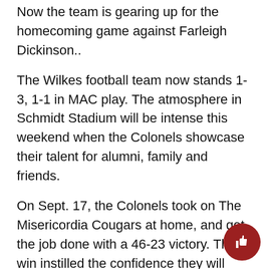Now the team is gearing up for the homecoming game against Farleigh Dickinson..
The Wilkes football team now stands 1-3, 1-1 in MAC play. The atmosphere in Schmidt Stadium will be intense this weekend when the Colonels showcase their talent for alumni, family and friends.
On Sept. 17, the Colonels took on The Misericordia Cougars at home, and got the job done with a 46-23 victory. The win instilled the confidence they will need to continue to excel as the season progresses.
Senior standout, Jake Brook talked on the big team win saying, “although we were hoping on getting our first win earlier in the season, it is still a great feeling because we’ve all been working hard since we came for camp, plus to get it against a team that beat us last year sho that we are truly getting better and moving in the direction that we want to be going in.”